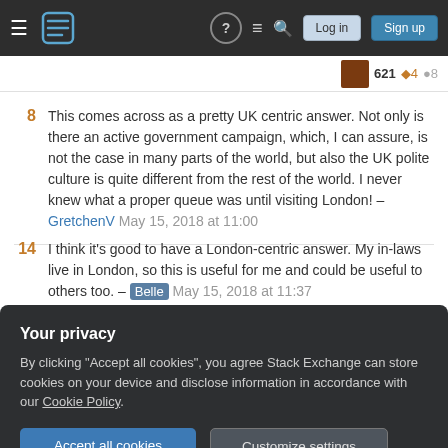Stack Exchange navigation bar with Log in and Sign up buttons
021 ◆4 ●8
8 — This comes across as a pretty UK centric answer. Not only is there an active government campaign, which, I can assure, is not the case in many parts of the world, but also the UK polite culture is quite different from the rest of the world. I never knew what a proper queue was until visiting London! – GretchenV May 15, 2018 at 11:00
14 — I think it's good to have a London-centric answer. My in-laws live in London, so this is useful for me and could be useful to others too. – Belle May 15, 2018 at 11:37
Your privacy — By clicking "Accept all cookies", you agree Stack Exchange can store cookies on your device and disclose information in accordance with our Cookie Policy.
Excuse me, I have a disability/health